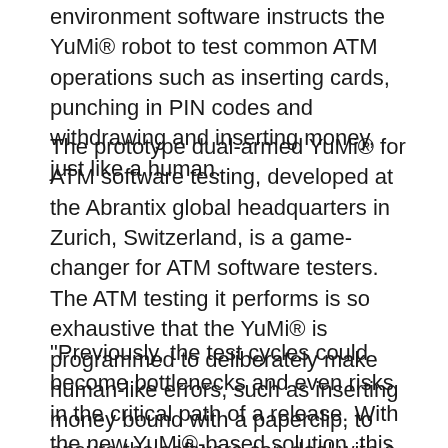environment software instructs the YuMi® robot to test common ATM operations such as inserting cards, punching in PIN codes and withdrawing and inserting money, just like a human.
The prototype dual-armed YuMi® for ATM software testing, developed at the Abrantix global headquarters in Zurich, Switzerland, is a game-changer for ATM software testers. The ATM testing it performs is so exhaustive that the YuMi® is programmed to deliberately make human-like errors, such as inserting money bound with a paperclip, to ensure the software can deal with a range of issues.
“Previously, the test cycles could become bottlenecks and even risks in the critical path of a release. With the new YuMi®-based solution, this is much more under control and employees can now focus on improving test cases and procedures or even develop new software features, while YuMi® is testing the ATMs.”